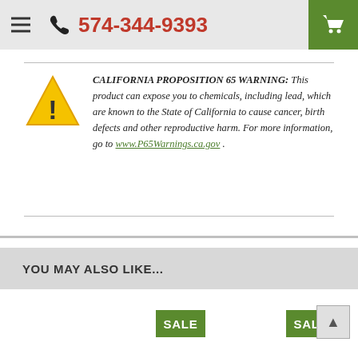574-344-9393
CALIFORNIA PROPOSITION 65 WARNING: This product can expose you to chemicals, including lead, which are known to the State of California to cause cancer, birth defects and other reproductive harm. For more information, go to www.P65Warnings.ca.gov .
YOU MAY ALSO LIKE...
SALE
SALE